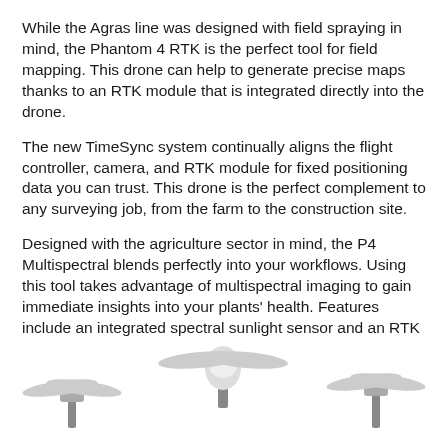While the Agras line was designed with field spraying in mind, the Phantom 4 RTK is the perfect tool for field mapping. This drone can help to generate precise maps thanks to an RTK module that is integrated directly into the drone.
The new TimeSync system continually aligns the flight controller, camera, and RTK module for fixed positioning data you can trust. This drone is the perfect complement to any surveying job, from the farm to the construction site.
Designed with the agriculture sector in mind, the P4 Multispectral blends perfectly into your workflows. Using this tool takes advantage of multispectral imaging to gain immediate insights into your plants' health. Features include an integrated spectral sunlight sensor and an RTK Module that allows for accuracy down to the centimeter.
In addition to drones, DJI offers agriculture-specific payloads designed to take on some of the top challenges in the sector, including:
[Figure (photo): Bottom portion showing three DJI drones (partial view from below), white with silver motor mounts and propellers, on a white background.]